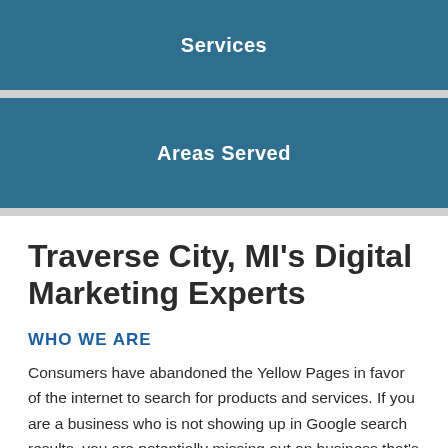Services
Areas Served
Traverse City, MI's Digital Marketing Experts
WHO WE ARE
Consumers have abandoned the Yellow Pages in favor of the internet to search for products and services. If you are a business who is not showing up in Google search results, you are potentially missing out on business that's going to